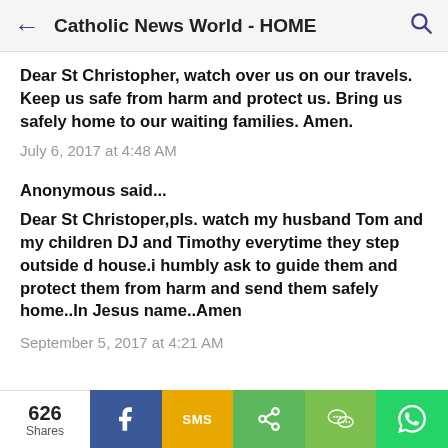Catholic News World - HOME
Dear St Christopher, watch over us on our travels. Keep us safe from harm and protect us. Bring us safely home to our waiting families. Amen.
July 6, 2017 at 4:48 AM
Anonymous said...
Dear St Christoper,pls. watch my husband Tom and my children DJ and Timothy everytime they step outside d house.i humbly ask to guide them and protect them from harm and send them safely home..In Jesus name..Amen
September 5, 2017 at 4:21 AM
626 Shares